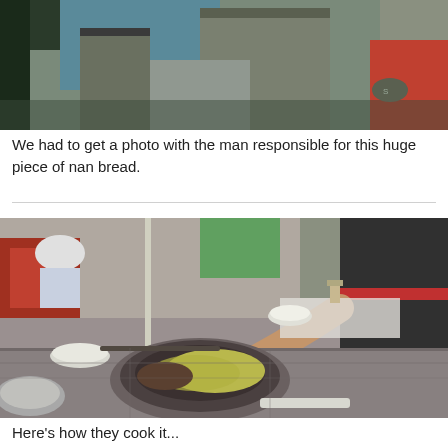[Figure (photo): Top portion of a photo showing people standing, cropped showing legs and lower bodies, with a colorful background including red furniture.]
We had to get a photo with the man responsible for this huge piece of nan bread.
[Figure (photo): A person reaching toward a large clay tandoor oven set into a stone surface, with bread dough being prepared. A white bowl and other baking implements are visible on the stone surface, with a busy market background.]
Here's how they cook it...